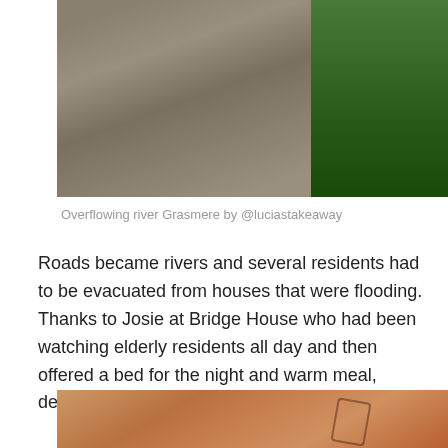[Figure (photo): Aerial or close-up view of an overflowing river with muddy brown floodwater on the left and green vegetation/bushes on the right bank]
Overflowing river Grasmere by @luciastakeaway
Roads became rivers and several residents had to be evacuated from houses that were flooding. Thanks to Josie at Bridge House who had been watching elderly residents all day and then offered a bed for the night and warm meal, despite her hotel flooding too.
[Figure (photo): Partial view of another flood-related photo showing reddish-brown muddy ground or floodwater surface]